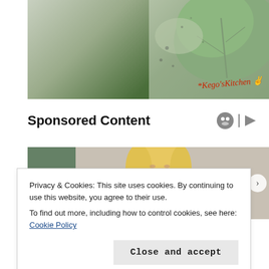[Figure (photo): Close-up photo of green spinach or similar leafy vegetable on a light background, with watermark text 'Kego'sKitchen' in red cursive with an OK hand emoji]
Sponsored Content
[Figure (photo): Photo of a blonde woman looking down, partially obscured by a cookie consent banner]
Privacy & Cookies: This site uses cookies. By continuing to use this website, you agree to their use.
To find out more, including how to control cookies, see here: Cookie Policy
Close and accept